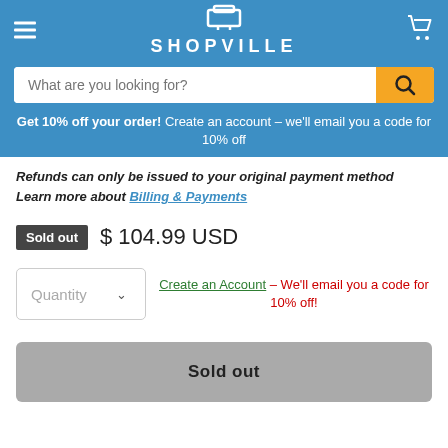SHOPVILLE
What are you looking for?
Get 10% off your order! Create an account – we'll email you a code for 10% off
Refunds can only be issued to your original payment method
Learn more about Billing & Payments
Sold out  $104.99 USD
Quantity  Create an Account – We'll email you a code for 10% off!
Sold out